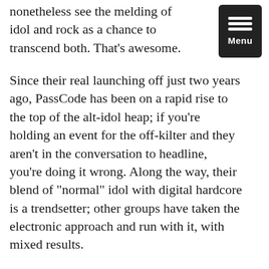nonetheless see the melding of idol and rock as a chance to transcend both. That's awesome.
[Figure (other): Dark navigation menu button with three horizontal white bars and 'Menu' label on black rounded rectangle background]
Since their real launching off just two years ago, PassCode has been on a rapid rise to the top of the alt-idol heap; if you're holding an event for the off-kilter and they aren't in the conversation to headline, you're doing it wrong. Along the way, their blend of "normal" idol with digital hardcore is a trendsetter; other groups have taken the electronic approach and run with it, with mixed results.
Back at the source, PassCode followed up their big 2014 debut, All Is Vanity, with a 2015 littered with just two singles but an absolute face-kicking TIF debut and their first national one-man tour (oh, and facing down a really big change in membership). Looking back, the